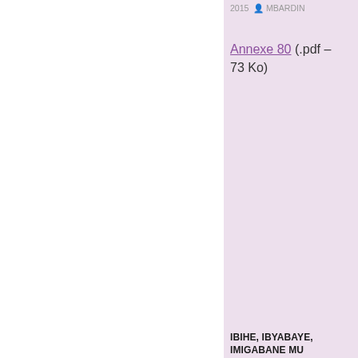2015  MBARDIN
Annexe 80 (.pdf – 73 Ko)
IBIHE, IBYABAYE, IMIGABANE MU RUHANDO RW'IBYABAYE, 6 MATA-19 NYAKANGA 1994, ABAHANGANYE N'UBUTEGETSI BO MU GIHUGU, ITSEMBABWOKO N'ITSEMBATSEMA, MINUAR-ONU, AMBASADI, N'IBINDI BIGO